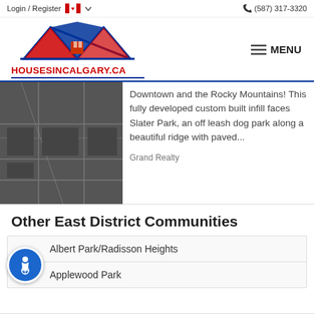Login / Register   (587) 317-3320
[Figure (logo): HousesinCalgary.ca logo with red and blue mountain/house icon and text]
[Figure (screenshot): Dark grey map thumbnail showing street grid]
Downtown and the Rocky Mountains! This fully developed custom built infill faces Slater Park, an off leash dog park along a beautiful ridge with paved...
Grand Realty
Other East District Communities
Albert Park/Radisson Heights
Applewood Park